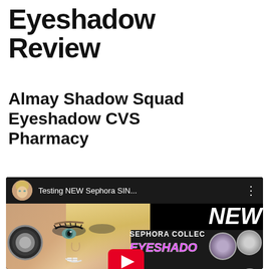Eyeshadow Review
Almay Shadow Squad Eyeshadow CVS Pharmacy
[Figure (screenshot): YouTube video embed thumbnail showing a woman holding an eyeshadow compact near her eye, with text overlay 'Testing NEW Sephora SIN...' in the title bar, and 'NEW SEPHORA COLLECTION EYESHADOW' text on the right side with a red YouTube play button in the center.]